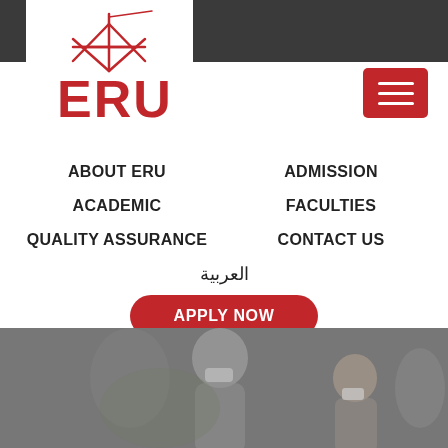[Figure (logo): ERU university logo with red starburst/asterisk symbol above bold red ERU text]
[Figure (other): Red hamburger menu button with three white horizontal bars]
ABOUT ERU
ADMISSION
ACADEMIC
FACULTIES
QUALITY ASSURANCE
CONTACT US
العربية
[Figure (other): Red rounded button with white bold text APPLY NOW]
[Figure (photo): Photograph of people wearing face masks, appears to show elderly persons in outdoor setting]